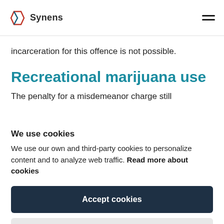Synens
incarceration for this offence is not possible.
Recreational marijuana use
The penalty for a misdemeanor charge still...
We use cookies
We use our own and third-party cookies to personalize content and to analyze web traffic. Read more about cookies
Accept cookies
Reject